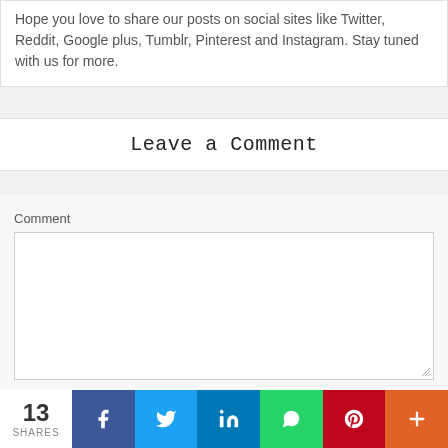Hope you love to share our posts on social sites like Twitter, Reddit, Google plus, Tumblr, Pinterest and Instagram. Stay tuned with us for more.
Leave a Comment
Comment
Name *